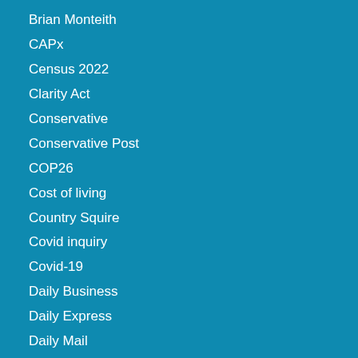Brian Monteith
CAPx
Census 2022
Clarity Act
Conservative
Conservative Post
COP26
Cost of living
Country Squire
Covid inquiry
Covid-19
Daily Business
Daily Express
Daily Mail
Daily Record
David Bone
Defence Matters